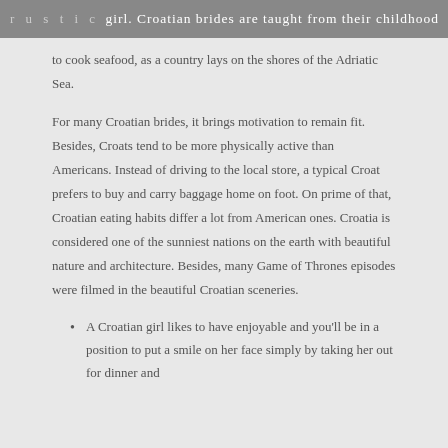rustic simplicity — girl. Croatian brides are taught from their childhood
to cook seafood, as a country lays on the shores of the Adriatic Sea.
For many Croatian brides, it brings motivation to remain fit. Besides, Croats tend to be more physically active than Americans. Instead of driving to the local store, a typical Croat prefers to buy and carry baggage home on foot. On prime of that, Croatian eating habits differ a lot from American ones. Croatia is considered one of the sunniest nations on the earth with beautiful nature and architecture. Besides, many Game of Thrones episodes were filmed in the beautiful Croatian sceneries.
A Croatian girl likes to have enjoyable and you'll be in a position to put a smile on her face simply by taking her out for dinner and